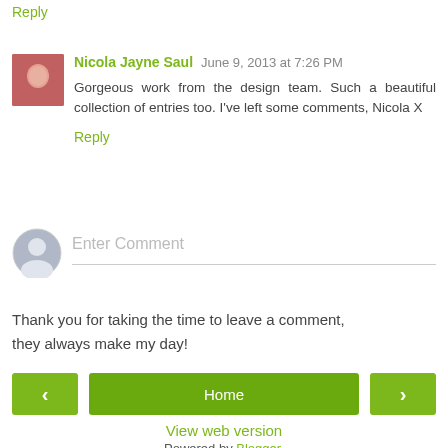Reply
Nicola Jayne Saul  June 9, 2013 at 7:26 PM
Gorgeous work from the design team. Such a beautiful collection of entries too. I've left some comments, Nicola X
Reply
Enter Comment
Thank you for taking the time to leave a comment, they always make my day!
Home
View web version
Powered by Blogger.